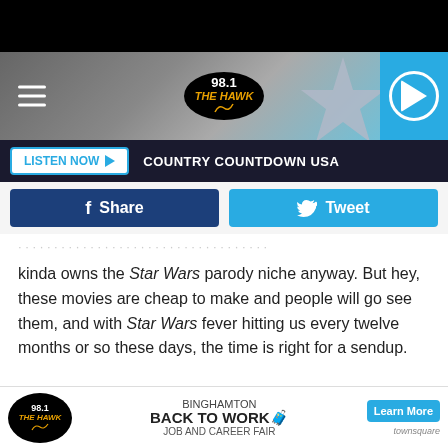[Figure (screenshot): 98.1 The Hawk radio station website header with hamburger menu, oval logo, star graphic background, and blue play button]
[Figure (infographic): Listen Now button with play triangle and COUNTRY COUNTDOWN USA text on dark bar]
[Figure (infographic): Facebook Share button (dark blue) and Twitter Tweet button (light blue)]
kinda owns the Star Wars parody niche anyway. But hey, these movies are cheap to make and people will go see them, and with Star Wars fever hitting us every twelve months or so these days, the time is right for a sendup.
Friedberg and Selzer are already working on a Taken parody
[Figure (infographic): Advertisement banner: 98.1 The Hawk logo, Binghamton Back To Work Job and Career Fair, Learn More button, Townsquare logo]